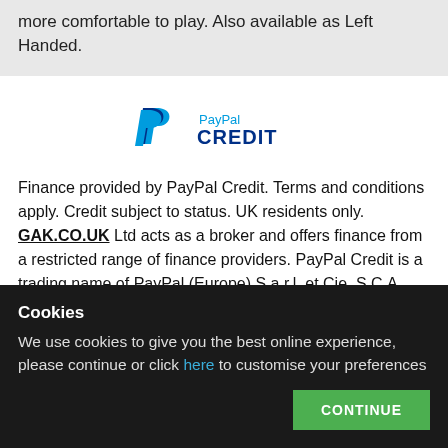more comfortable to play. Also available as Left Handed.
[Figure (logo): PayPal CREDIT logo — blue PayPal 'P' icon with 'PayPal' in light blue and 'CREDIT' in dark navy bold text]
Finance provided by PayPal Credit. Terms and conditions apply. Credit subject to status. UK residents only. GAK.CO.UK Ltd acts as a broker and offers finance from a restricted range of finance providers. PayPal Credit is a trading name of PayPal (Europe) S.a.r.l. et Cie, S.C.A., 22-24 Boulevard Royal L-2449, Luxembourg.
Cookies
We use cookies to give you the best online experience, please continue or click here to customise your preferences